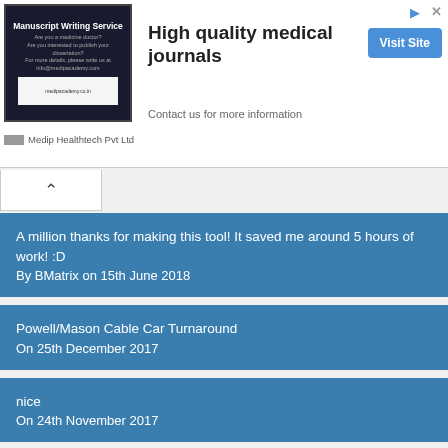[Figure (illustration): Advertisement banner for Manuscript Writing Service by Medip Healthtech Pvt Ltd promoting high quality medical journals with Visit Site button]
A million thanks for making this tool! It saved me around 5 hours of work! :D
By BMatrix on 15th June 2018
Powell/Mason Cable Car Turnaround
On 25th December 2017
nice
On 24th November 2017
VIEW BEGADA TANK FROM NASA SEE LOOK THIS. GOOD IEADA TO DO.
By N.K.Dixit ALIRAJPUR on 27th October 2016